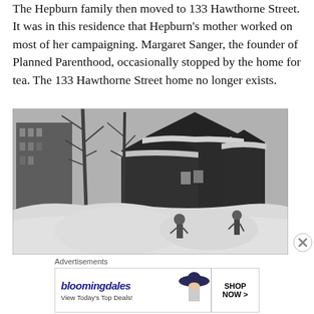The Hepburn family then moved to 133 Hawthorne Street. It was in this residence that Hepburn's mother worked on most of her campaigning. Margaret Sanger, the founder of Planned Parenthood, occasionally stopped by the home for tea. The 133 Hawthorne Street home no longer exists.
[Figure (photo): Black and white historical photograph showing a large dark Victorian-style house in winter, with bare trees, deep snow drifts in the foreground, and two figures standing near the snow. A taller building is visible in the background on the left.]
Advertisements
[Figure (screenshot): Bloomingdale's advertisement banner showing the Bloomingdale's logo in blue italic script, text 'View Today's Top Deals!', an image of a woman in a large-brimmed hat, and a 'SHOP NOW >' button in a black-bordered box.]